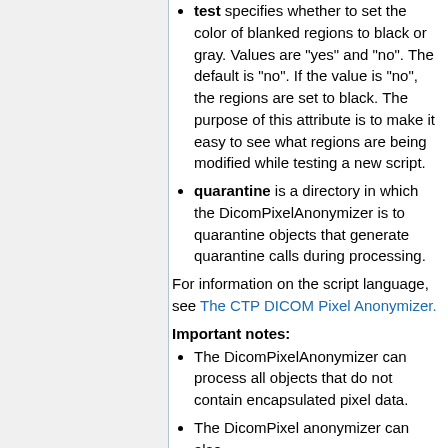test specifies whether to set the color of blanked regions to black or gray. Values are "yes" and "no". The default is "no". If the value is "no", the regions are set to black. The purpose of this attribute is to make it easy to see what regions are being modified while testing a new script.
quarantine is a directory in which the DicomPixelAnonymizer is to quarantine objects that generate quarantine calls during processing.
For information on the script language, see The CTP DICOM Pixel Anonymizer.
Important notes:
The DicomPixelAnonymizer can process all objects that do not contain encapsulated pixel data.
The DicomPixel anonymizer can also